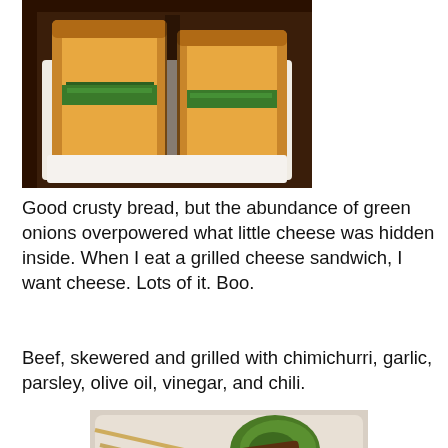[Figure (photo): Photo of a grilled cheese sandwich cut in half showing green onion filling inside crusty bread, on a white plate, dark background]
Good crusty bread, but the abundance of green onions overpowered what little cheese was hidden inside. When I eat a grilled cheese sandwich, I want cheese. Lots of it. Boo.
Beef, skewered and grilled with chimichurri, garlic, parsley, olive oil, vinegar, and chili.
[Figure (photo): Photo of beef skewers grilled with chimichurri sauce on a white plate, with green chimichurri sauce visible]